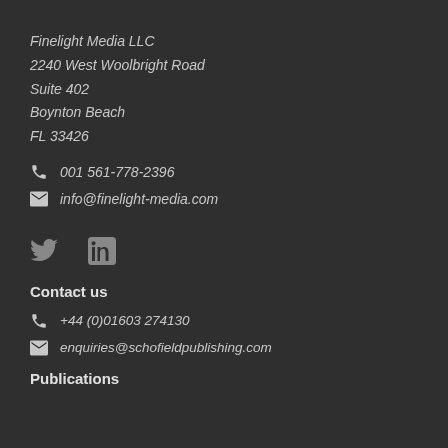Finelight Media LLC
2240 West Woolbright Road
Suite 402
Boynton Beach
FL 33426
001 561-778-2396
info@finelight-media.com
[Figure (other): Twitter and LinkedIn social media icons]
Contact us
+44 (0)01603 274130
enquiries@schofieldpublishing.com
Publications